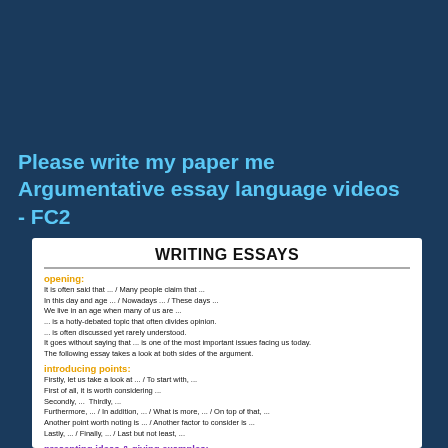Please write my paper me Argumentative essay language videos - FC2
WRITING ESSAYS
opening:
It is often said that ... / Many people claim that ...
In this day and age ... / Nowadays ... / These days ...
We live in an age when many of us are ...
... is a hotly-debated topic that often divides opinion.
... is often discussed yet rarely understood.
It goes without saying that ... is one of the most important issues facing us today.
The following essay takes a look at both sides of the argument.
introducing points:
Firstly, let us take a look at ... / To start with, ...
First of all, it is worth considering ...
Secondly, ...  Thirdly, ...
Furthermore, ... / In addition, ... / What is more, ... / On top of that, ...
Another point worth noting is ... / Another factor to consider is ...
Lastly, ... / Finally, ... / Last but not least, ...
presenting ideas & giving examples:
When it comes to noun/gerund, ...    According to experts, ...
In terms of noun/gerund , ...    Research has found that ...